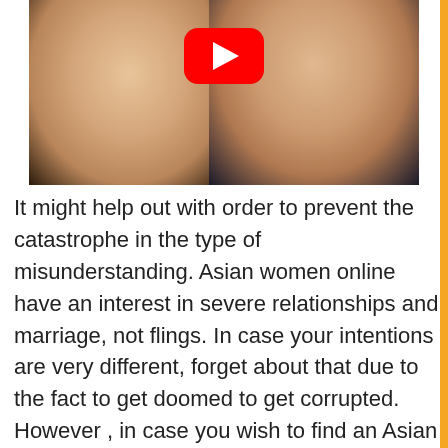[Figure (photo): YouTube video thumbnail showing two women side by side with a blue sky background and a red YouTube play button overlay in the center top.]
It might help out with order to prevent the catastrophe in the type of misunderstanding. Asian women online have an interest in severe relationships and marriage, not flings. In case your intentions are very different, forget about that due to the fact to get doomed to get corrupted. However , in case you wish to find an Asian wife, weight loss but do well by joining on a seeing platform. For example , you won't find a solo mother between Chinese gals for marital life who